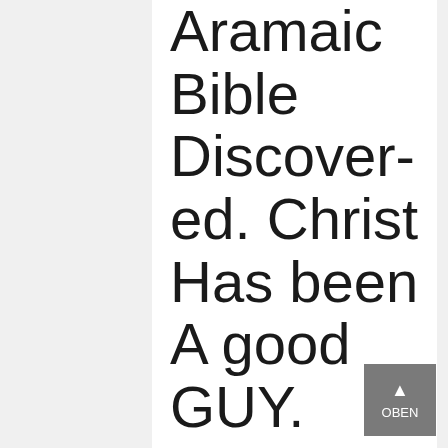Aramaic Bible Discovered. Christ Has been A good GUY.
Via the internet betting can be becoming more and more most common during the last decades, plus its